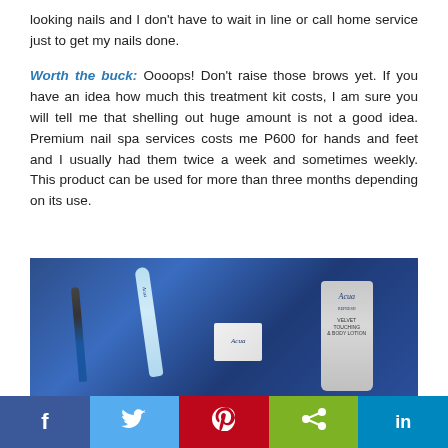looking nails and I don't have to wait in line or call home service just to get my nails done.
Worth the buck: Oooops! Don't raise those brows yet. If you have an idea how much this treatment kit costs, I am sure you will tell me that shelling out huge amount is not a good idea. Premium nail spa services costs me P600 for hands and feet and I usually had them twice a week and sometimes weekly. This product can be used for more than three months depending on its use.
[Figure (photo): Photo of Acua nail spa treatment kit products on blue background, including a nail file, pen-like tool, small product box, and cream tube]
f  (twitter bird)  (pinterest)  (share)  in